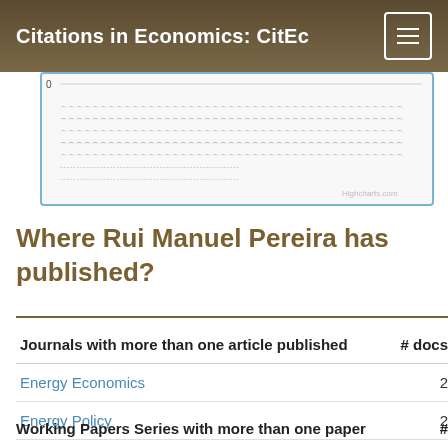Citations in Economics: CitEc
[Figure (continuous-plot): A dense scatter/strip chart showing citation data with many overlapping data points forming horizontal bands. Axis label '0' visible at top left. Highcharts.com watermark at bottom right.]
Where Rui Manuel Pereira has published?
| Journals with more than one article published | # docs |
| --- | --- |
| Energy Economics | 2 |
| Energy Policy | 2 |
| Portuguese Economic Journal | 2 |
| Journal of Economic Development | 2 |
Working Papers Series with more than one paper